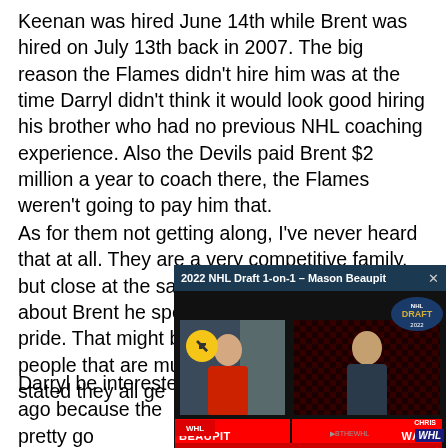Keenan was hired June 14th while Brent was hired on July 13th back in 2007. The big reason the Flames didn't hire him was at the time Darryl didn't think it would look good hiring his brother who had no previous NHL coaching experience. Also the Devils paid Brent $2 million a year to coach there, the Flames weren't going to pay him that.
As for them not getting along, I've never heard that at all. They are a very competitive family, but close at the same time. When Darryl talks about Brent he speaks with a great sense of pride. That might be just in the public eye, but people that are much closer to them have stated they all ge...
[Figure (screenshot): Video overlay popup titled '2022 NHL Draft 1-on-1 – Mason Beaupit' showing two video panels side by side. Left panel shows a person in a red shirt, right panel shows a person in a dark shirt against a patterned background. Bottom name bars read 'BEAUPIT' on left and 'WAHL' on right with small first name labels 'MASON' and 'CHRIS'. WHL logo visible. Draft logo at top right of popup. Yellow mute button visible.]
Darryl be interested in ... years ago because the... together two pretty goo... going 97-56-11. The pr... the first round either ye...